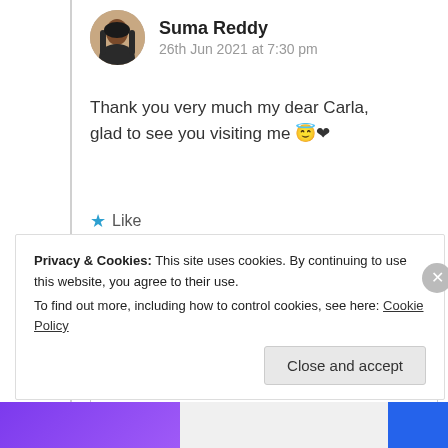Suma Reddy
26th Jun 2021 at 7:30 pm
Thank you very much my dear Carla, glad to see you visiting me 😇❤
★ Like
Log in to Reply
Privacy & Cookies: This site uses cookies. By continuing to use this website, you agree to their use. To find out more, including how to control cookies, see here: Cookie Policy
Close and accept